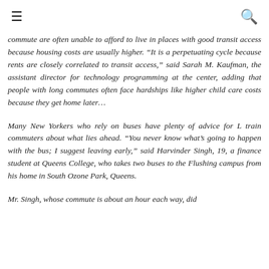☰ [search icon]
commute are often unable to afford to live in places with good transit access because housing costs are usually higher. “It is a perpetuating cycle because rents are closely correlated to transit access,” said Sarah M. Kaufman, the assistant director for technology programming at the center, adding that people with long commutes often face hardships like higher child care costs because they get home later…
Many New Yorkers who rely on buses have plenty of advice for L train commuters about what lies ahead. “You never know what’s going to happen with the bus; I suggest leaving early,” said Harvinder Singh, 19, a finance student at Queens College, who takes two buses to the Flushing campus from his home in South Ozone Park, Queens.
Mr. Singh, whose commute is about an hour each way, did